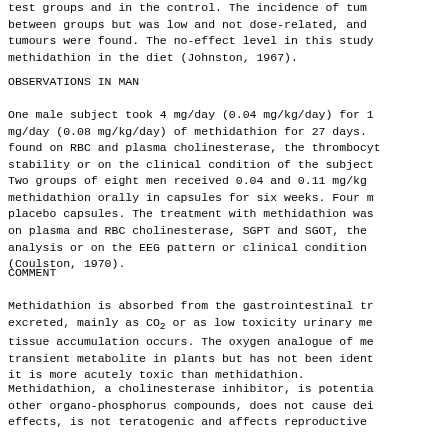test groups and in the control. The incidence of tumours between groups but was low and not dose-related, and tumours were found. The no-effect level in this study methidathion in the diet (Johnston, 1967).
OBSERVATIONS IN MAN
One male subject took 4 mg/day (0.04 mg/kg/day) for 1 mg/day (0.08 mg/kg/day) of methidathion for 27 days. found on RBC and plasma cholinesterase, the thrombocyte stability or on the clinical condition of the subject
Two groups of eight men received 0.04 and 0.11 mg/kg methidathion orally in capsules for six weeks. Four m placebo capsules. The treatment with methidathion was on plasma and RBC cholinesterase, SGPT and SGOT, the analysis or on the EEG pattern or clinical condition (Coulston, 1970).
COMMENT
Methidathion is absorbed from the gastrointestinal tr excreted, mainly as CO2 or as low toxicity urinary me tissue accumulation occurs. The oxygen analogue of me transient metabolite in plants but has not been ident it is more acutely toxic than methidathion.
Methidathion, a cholinesterase inhibitor, is potentia other organo-phosphorus compounds, does not cause dei effects, is not teratogenic and affects reproductive